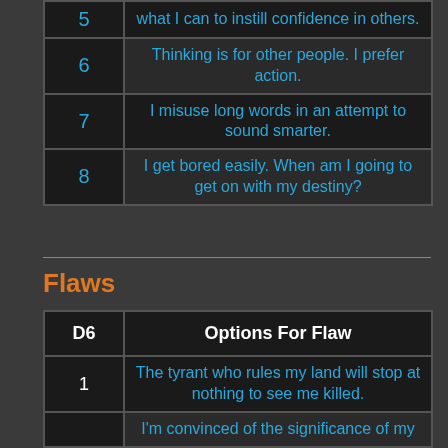|  |  |
| --- | --- |
| 5 | what I can to instill confidence in others. |
| 6 | Thinking is for other people. I prefer action. |
| 7 | I misuse long words in an attempt to sound smarter. |
| 8 | I get bored easily. When am I going to get on with my destiny? |
Flaws
| D6 | Options For Flaw |
| --- | --- |
| 1 | The tyrant who rules my land will stop at nothing to see me killed. |
|  | I'm convinced of the significance of my |